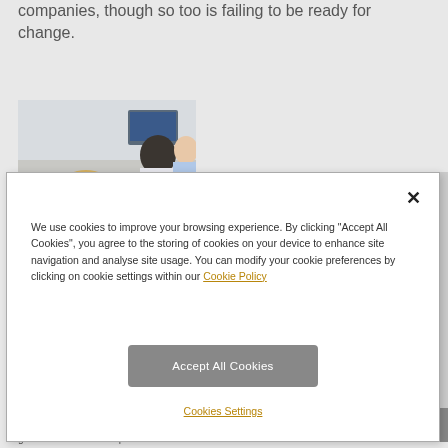companies, though so too is failing to be ready for change.
[Figure (photo): Photo of a young blond man looking at a screen, with colleagues in the background in an office setting.]
We use cookies to improve your browsing experience. By clicking "Accept All Cookies", you agree to the storing of cookies on your device to enhance site navigation and analyse site usage. You can modify your cookie preferences by clicking on cookie settings within our Cookie Policy
Accept All Cookies
Cookies Settings
general or both on the performance of individual securities and i